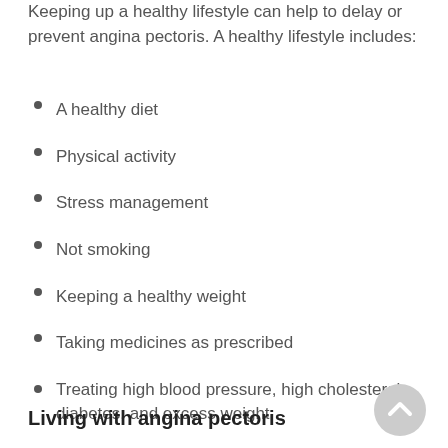Keeping up a healthy lifestyle can help to delay or prevent angina pectoris. A healthy lifestyle includes:
A healthy diet
Physical activity
Stress management
Not smoking
Keeping a healthy weight
Taking medicines as prescribed
Treating high blood pressure, high cholesterol, diabetes, and excess weight
Living with angina pectoris